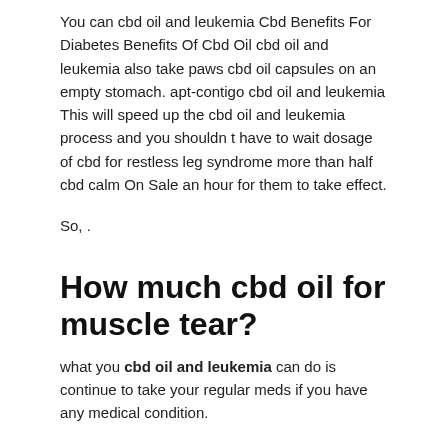You can cbd oil and leukemia Cbd Benefits For Diabetes Benefits Of Cbd Oil cbd oil and leukemia also take paws cbd oil capsules on an empty stomach. apt-contigo cbd oil and leukemia This will speed up the cbd oil and leukemia process and you shouldn t have to wait dosage of cbd for restless leg syndrome more than half cbd calm On Sale an hour for them to take effect.
So, .
How much cbd oil for muscle tear?
what you cbd oil and leukemia can do is continue to take your regular meds if you have any medical condition.